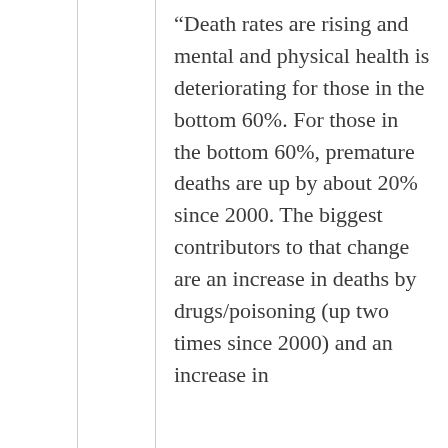“Death rates are rising and mental and physical health is deteriorating for those in the bottom 60%. For those in the bottom 60%, premature deaths are up by about 20% since 2000. The biggest contributors to that change are an increase in deaths by drugs/poisoning (up two times since 2000) and an increase in